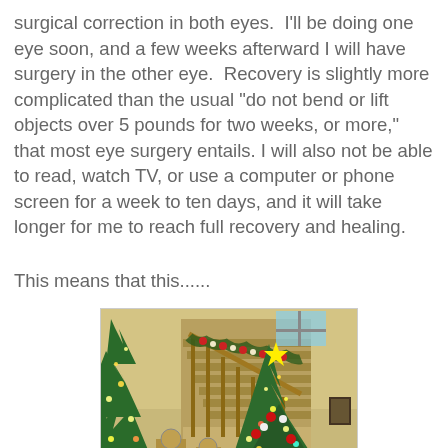surgical correction in both eyes. I'll be doing one eye soon, and a few weeks afterward I will have surgery in the other eye. Recovery is slightly more complicated than the usual "do not bend or lift objects over 5 pounds for two weeks, or more," that most eye surgery entails. I will also not be able to read, watch TV, or use a computer or phone screen for a week to ten days, and it will take longer for me to reach full recovery and healing.
This means that this......
[Figure (photo): Indoor photo of a decorated Christmas tree and staircase with garland and ornaments in a home setting.]